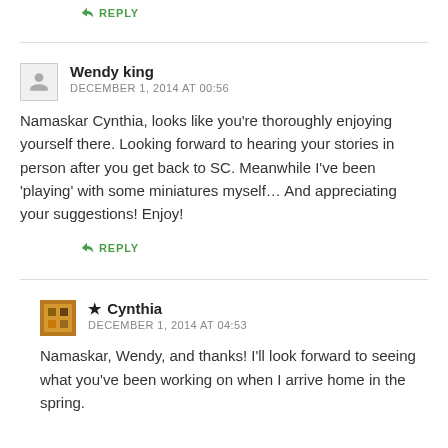↪ REPLY
Wendy king
DECEMBER 1, 2014 AT 00:56
Namaskar Cynthia, looks like you're thoroughly enjoying yourself there. Looking forward to hearing your stories in person after you get back to SC. Meanwhile I've been 'playing' with some miniatures myself... And appreciating your suggestions! Enjoy!
↪ REPLY
★ Cynthia
DECEMBER 1, 2014 AT 04:53
Namaskar, Wendy, and thanks! I'll look forward to seeing what you've been working on when I arrive home in the spring.